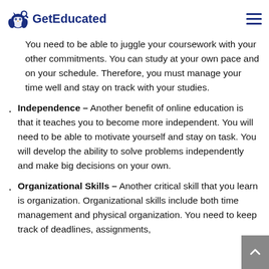GetEducated
Time Management – One of the most important skills you can have in any job is time management
You need to be able to juggle your coursework with your other commitments. You can study at your own pace and on your schedule. Therefore, you must manage your time well and stay on track with your studies.
Independence – Another benefit of online education is that it teaches you to become more independent. You will need to be able to motivate yourself and stay on task. You will develop the ability to solve problems independently and make big decisions on your own.
Organizational Skills – Another critical skill that you learn is organization. Organizational skills include both time management and physical organization. You need to keep track of deadlines, assignments,